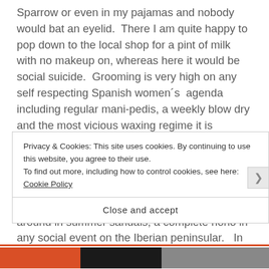Sparrow or even in my pajamas and nobody would bat an eyelid.  There I am quite happy to pop down to the local shop for a pint of milk with no makeup on, whereas here it would be social suicide.  Grooming is very high on any self respecting Spanish women´s  agenda including regular mani-pedis, a weekly blow dry and the most vicious waxing regime it is possible to imagine.   England is definitely more relaxed about such things.  Having been to a couple of weddings and parties in England recently, it was interesting to see many cracked heels and acres of rough skin being paraded around in summer sandals, a complete nono in any social event on the Iberian peninsular.   In the UK it is quite
Privacy & Cookies: This site uses cookies. By continuing to use this website, you agree to their use.
To find out more, including how to control cookies, see here: Cookie Policy
Close and accept